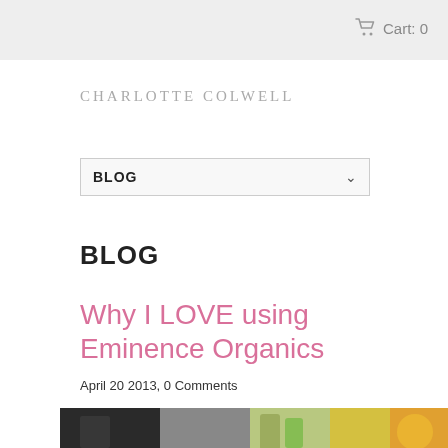Cart: 0
CHARLOTTE COLWELL
BLOG
BLOG
Why I LOVE using Eminence Organics
April 20 2013, 0 Comments
[Figure (photo): Blog post image strip showing Eminence Organics products]